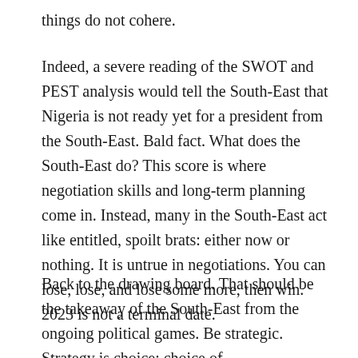things do not cohere.
Indeed, a severe reading of the SWOT and PEST analysis would tell the South-East that Nigeria is not ready yet for a president from the South-East. Bald fact. What does the South-East do? This score is where negotiation skills and long-term planning come in. Instead, many in the South-East act like entitled, spoilt brats: either now or nothing. It is untrue in negotiations. You can lose, lose, and lose some more, then win. 2023 is not a terminal date.
Back to the drawing board. That should be the takeaway of the South-East from the ongoing political games. Be strategic. Strategy is choice; choice of